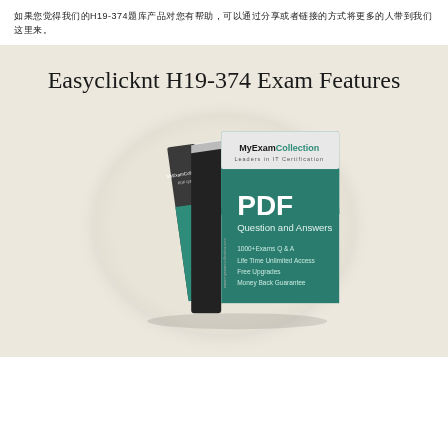如果您觉得我们的H19-374题库产品对您有帮助，可以通过分享或者链接的方式将更多的人带到我们这里来。
Easyclicknt H19-374 Exam Features
[Figure (illustration): MyExamCollection PDF Question and Answers book/box product image on a circular background. The box shows: MyExamCollection, Leaders in IT Certification, PDF Question and Answers, 1000+Exams Q & A, Life Time Unlimited Access, Free Upgrades, Money Back Guarantee]